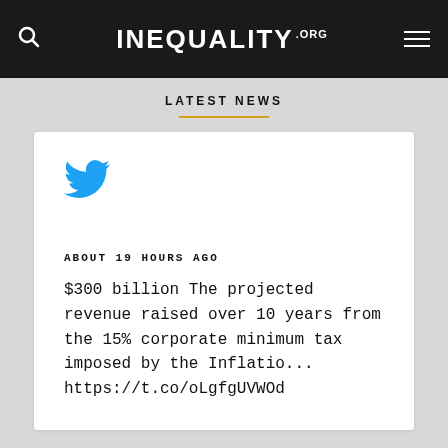INEQUALITY.ORG
LATEST NEWS
[Figure (logo): Twitter bird logo in blue]
ABOUT 19 HOURS AGO
$300 billion The projected revenue raised over 10 years from the 15% corporate minimum tax imposed by the Inflatio... https://t.co/oLgfgUVWOd